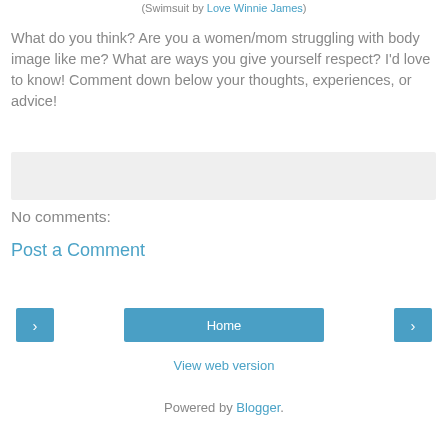(Swimsuit by Love Winnie James)
What do you think? Are you a women/mom struggling with body image like me? What are ways you give yourself respect? I'd love to know! Comment down below your thoughts, experiences, or advice!
[Figure (other): Gray placeholder/comment box area]
No comments:
Post a Comment
Home
View web version
Powered by Blogger.